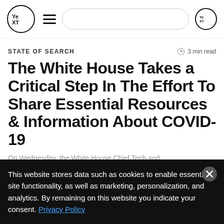Yext navigation bar with logo, hamburger menu, search bar, and Yext icon
STATE OF SEARCH
3 min read
The White House Takes a Critical Step In The Effort To Share Essential Resources & Information About COVID-19
This website stores data such as cookies to enable essential site functionality, as well as marketing, personalization, and analytics. By remaining on this website you indicate your consent. Privacy Policy